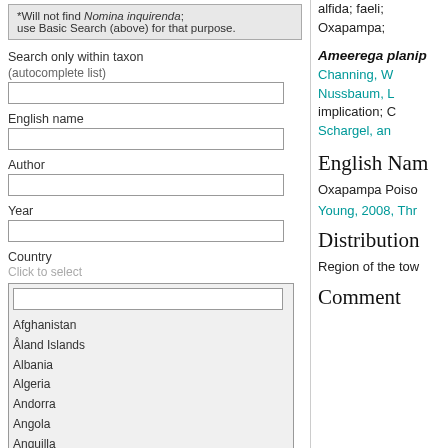*Will not find Nomina inquirenda; use Basic Search (above) for that purpose.
Search only within taxon (autocomplete list)
English name
Author
Year
Country
Click to select
Afghanistan
Åland Islands
Albania
Algeria
Andorra
Angola
Anguilla
alfida; faeli; Oxapampa;
Ameerega planip
Channing, W
Nussbaum, L
implication; C
Schargel, an
English Nam
Oxapampa Poiso
Young, 2008, Thr
Distribution
Region of the tow
Comment